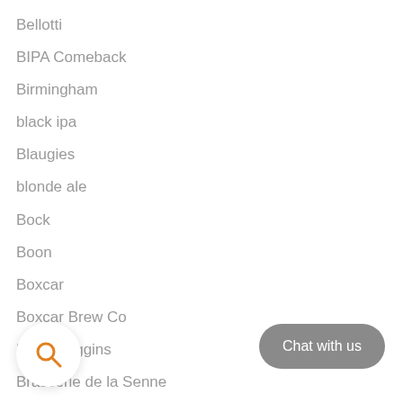Bellotti
BIPA Comeback
Birmingham
black ipa
Blaugies
blonde ale
Bock
Boon
Boxcar
Boxcar Brew Co
Brash Higgins
Brasserie de la Senne
Brasserie Dupont
Bra[s]broke
Bu...